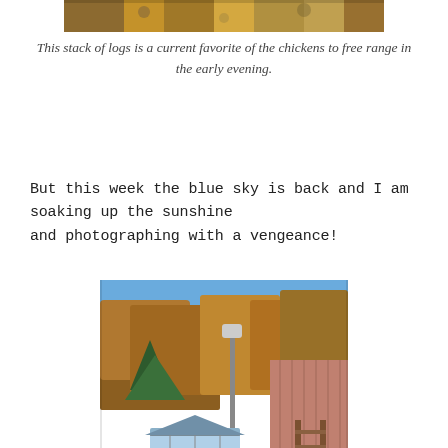[Figure (photo): Top cropped photo showing chickens on a stack of logs with autumn leaves and foliage]
This stack of logs is a current favorite of the chickens to free range in the early evening.
But this week the blue sky is back and I am soaking up the sunshine and photographing with a vengeance!
[Figure (photo): Outdoor farm scene showing a pink/red shed with a wooden ladder trellis leaning against it, a greenhouse structure in the background, green grass, a stone border garden bed, and autumn trees under a blue sky]